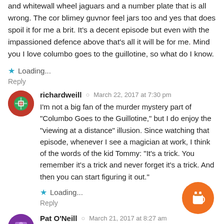and whitewall wheel jaguars and a number plate that is all wrong. The cor blimey guvnor feel jars too and yes that does spoil it for me a brit. It's a decent episode but even with the impassioned defence above that's all it will be for me. Mind you I love columbo goes to the guillotine, so what do I know.
Loading...
Reply
richardweill · March 22, 2017 at 7:30 pm
I'm not a big fan of the murder mystery part of "Columbo Goes to the Guillotine," but I do enjoy the "viewing at a distance" illusion. Since watching that episode, whenever I see a magician at work, I think of the words of the kid Tommy: "It's a trick. You remember it's a trick and never forget it's a trick. And then you can start figuring it out."
Loading...
Reply
Pat O'Neill · March 21, 2017 at 8:27 am
Great review by someone who appreciates this episode for what it is, and for what it was made for/by. Certainly cannot